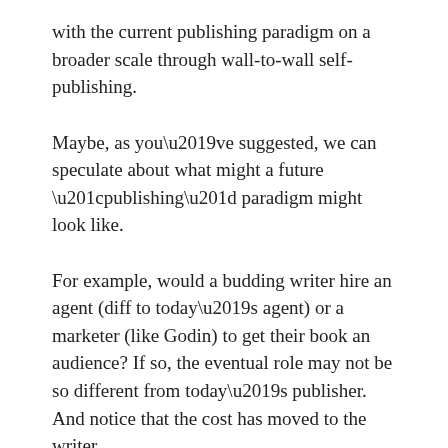with the current publishing paradigm on a broader scale through wall-to-wall self-publishing.
Maybe, as you’ve suggested, we can speculate about what might a future “publishing” paradigm might look like.
For example, would a budding writer hire an agent (diff to today’s agent) or a marketer (like Godin) to get their book an audience? If so, the eventual role may not be so different from today’s publisher. And notice that the cost has moved to the writer.